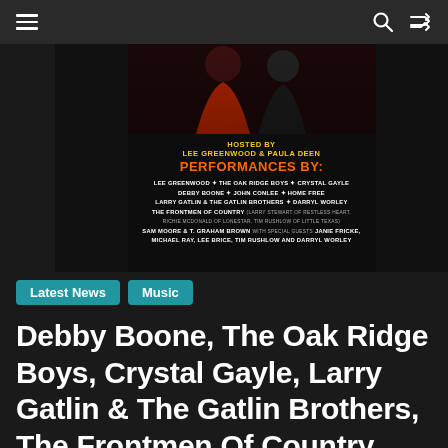Navigation bar with hamburger menu, search icon, and shuffle icon
[Figure (illustration): Event poster showing a person in red dress and a man in dark suit. Text reads: HOSTED BY LEE GREENWOOD & PAULA DEEN. PERFORMANCES BY: LEE GREENWOOD, THE OAK RIDGE BOYS, CRYSTAL GAYLE, DEBBY BOONE, JOHN CONLEE, HOME FREE, LARRY GATLIN & THE GATLIN BROTHERS, DARRYL WORLEY, THE FRONTMEN OF COUNTRY (LARRY STEWART OF RESTLESS HEART, RICHIE MCDONALD OF LONESTAR, TIM RUSHLOW OF LITTLE TEXAS), SAM MOORE & T. GRAHAM BROWN WITH SPECIAL GUESTS JANIE FRICKE, MICHAEL RAY, LEE BRICE, TIM RUSHLOW AND DARRYL WORLEY]
Latest News
Music
Debby Boone, The Oak Ridge Boys, Crystal Gayle, Larry Gatlin & The Gatlin Brothers, The Frontmen Of Country, John Conlee, Home Free, Sam Moore & T. Graham Brown With Special Guests Lee Brice, Michael Ray, Tim Rushlow, Janie Fricke, And Darryl Worley, And More Set To Perform On